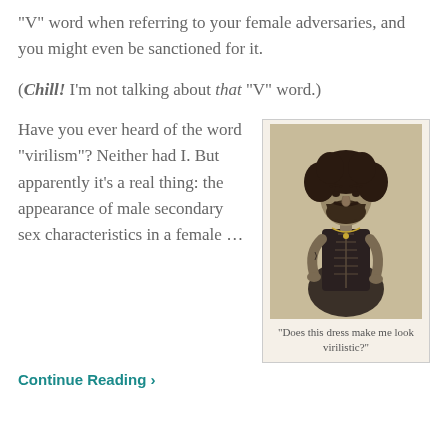"V" word when referring to your female adversaries, and you might even be sanctioned for it.
(Chill! I'm not talking about that "V" word.)
Have you ever heard of the word "virilism"? Neither had I. But apparently it's a real thing: the appearance of male secondary sex characteristics in a female ...
[Figure (photo): Vintage black-and-white engraving/photograph of a person with curly hair and a beard wearing a dress/corset, with caption: "Does this dress make me look virilistic?"]
"Does this dress make me look virilistic?"
Continue Reading ›